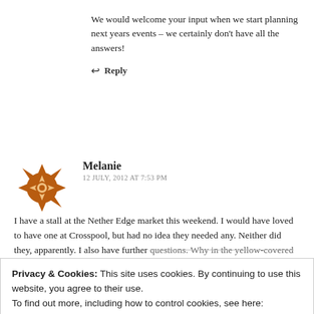We would welcome your input when we start planning next years events – we certainly don't have all the answers!
↩ Reply
[Figure (illustration): Avatar image: brown decorative snowflake/star pattern on white background]
Melanie
12 JULY, 2012 AT 7:53 PM
I have a stall at the Nether Edge market this weekend. I would have loved to have one at Crosspool, but had no idea they needed any. Neither did they, apparently. I also have further questions. Why in the yellow-covered leaflet, did it read that
Privacy & Cookies: This site uses cookies. By continuing to use this website, you agree to their use.
To find out more, including how to control cookies, see here:
Cookie Policy
Close and accept
the evening to advise of its' cancellation. This is collos and